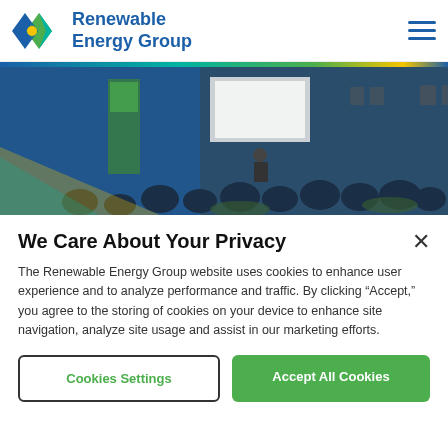Renewable Energy Group
[Figure (photo): Conference or event photo showing people seated at tables in a banquet hall, with a speaker at the front and green/blue branded banner displays. The image has a blue tint overlay on the left side.]
We Care About Your Privacy
The Renewable Energy Group website uses cookies to enhance user experience and to analyze performance and traffic. By clicking “Accept,” you agree to the storing of cookies on your device to enhance site navigation, analyze site usage and assist in our marketing efforts.
Cookies Settings
Accept All Cookies